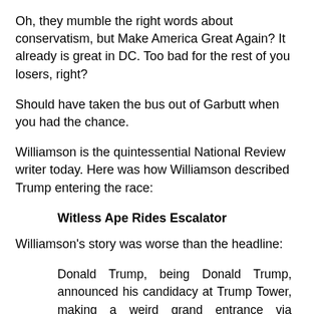Oh, they mumble the right words about conservatism, but Make America Great Again? It already is great in DC. Too bad for the rest of you losers, right?
Should have taken the bus out of Garbutt when you had the chance.
Williamson is the quintessential National Review writer today. Here was how Williamson described Trump entering the race:
Witless Ape Rides Escalator
Williamson's story was worse than the headline:
Donald Trump, being Donald Trump, announced his candidacy at Trump Tower, making a weird grand entrance via escalator — going down, of course, the symbolism of which is lost on that witless ape. But who could witness that scene — the self-made man who started with nothing but a